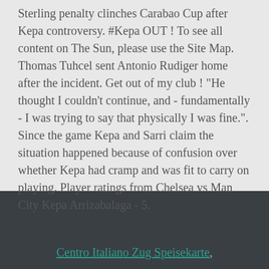Sterling penalty clinches Carabao Cup after Kepa controversy. #Kepa OUT ! To see all content on The Sun, please use the Site Map. Thomas Tuhcel sent Antonio Rudiger home after the incident. Get out of my club ! "He thought I couldn't continue, and - fundamentally - I was trying to say that physically I was fine.". Since the game Kepa and Sarri claim the situation happened because of confusion over whether Kepa had cramp and was fit to carry on playing. Player ratings from Chelsea vs Man City Kepa Arrizabalaga - 5.
Centro Italiano Zug Speisekarte,